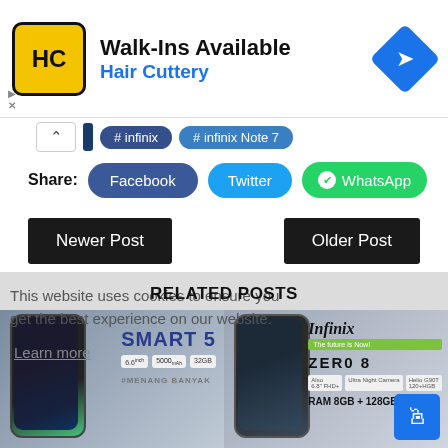[Figure (screenshot): Advertisement banner for Hair Cuttery with logo, Walk-Ins Available headline, and navigation arrow icon]
# infinix   # infinix Note 7
Share:  Facebook  Twitter  WhatsApp
Newer Post
Older Post
This website uses cookies to ensure you get the best experience on our website.
RELATED POSTS
Learn more
[Figure (screenshot): Infinix Smart 5 phone promotional image]
[Figure (screenshot): Infinix Zero 8 phone promotional image with RAM 8GB + 128GB]
Download Infinix Smart 5
Download Infinix Zero...